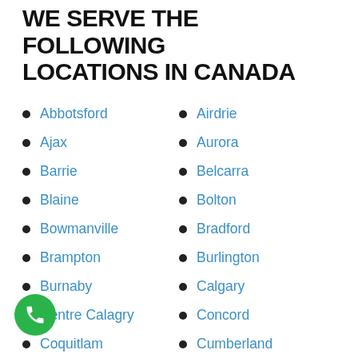WE SERVE THE FOLLOWING LOCATIONS IN CANADA
Abbotsford
Airdrie
Ajax
Aurora
Barrie
Belcarra
Blaine
Bolton
Bowmanville
Bradford
Brampton
Burlington
Burnaby
Calgary
Centre Calagry
Concord
Coquitlam
Cumberland
Delta
Downtown Calgary
Downtown Toronto
Downtown Vancouver
East Calgary
East Vancouver